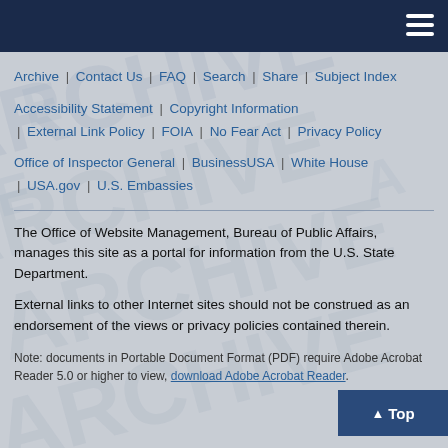Navigation bar with hamburger menu
Archive | Contact Us | FAQ | Search | Share | Subject Index
Accessibility Statement | Copyright Information | External Link Policy | FOIA | No Fear Act | Privacy Policy
Office of Inspector General | BusinessUSA | White House | USA.gov | U.S. Embassies
The Office of Website Management, Bureau of Public Affairs, manages this site as a portal for information from the U.S. State Department.
External links to other Internet sites should not be construed as an endorsement of the views or privacy policies contained therein.
Note: documents in Portable Document Format (PDF) require Adobe Acrobat Reader 5.0 or higher to view, download Adobe Acrobat Reader.